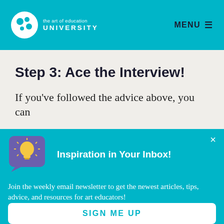the art of education UNIVERSITY | MENU
Step 3: Ace the Interview!
If you've followed the advice above, you can
Inspiration in Your Inbox!
Join the weekly email newsletter to get the newest articles, tips, advice, and resources for art educators!
SIGN ME UP